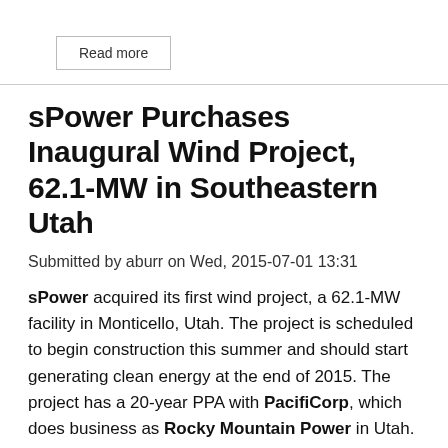Read more
sPower Purchases Inaugural Wind Project, 62.1-MW in Southeastern Utah
Submitted by aburr on Wed, 2015-07-01 13:31
sPower acquired its first wind project, a 62.1-MW facility in Monticello, Utah. The project is scheduled to begin construction this summer and should start generating clean energy at the end of 2015. The project has a 20-year PPA with PacifiCorp, which does business as Rocky Mountain Power in Utah.